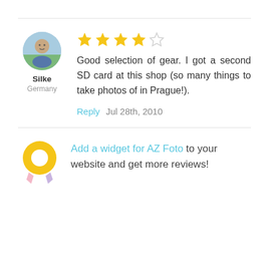[Figure (illustration): User avatar photo showing a person with nature background, circular crop]
Silke
Germany
[Figure (infographic): 4 filled gold stars and 1 empty star rating]
Good selection of gear. I got a second SD card at this shop (so many things to take photos of in Prague!).
Reply  Jul 28th, 2010
[Figure (illustration): Gold donut/ring icon with ribbon — widget promotional badge]
Add a widget for AZ Foto to your website and get more reviews!